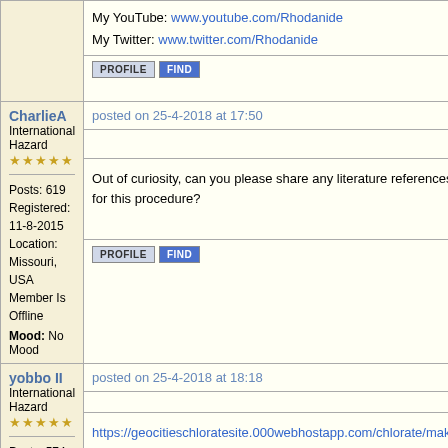My YouTube: www.youtube.com/Rhodanide
My Twitter: www.twitter.com/Rhodanide
PROFILE  FIND
CharlieA
International Hazard
★★★★★
Posts: 619
Registered: 11-8-2015
Location: Missouri, USA
Member Is Offline
Mood: No Mood
posted on 25-4-2018 at 17:50
Out of curiosity, can you please share any literature references for this procedure?
PROFILE  FIND
yobbo II
International Hazard
★★★★★
Posts: 574
Registered: 28-3-2016
Member Is Offline
posted on 25-4-2018 at 18:18
https://geocitieschloratesite.000webhostapp.com/chlorate/mak...
http://www.sciencemadness.org/talk/viewthread.php?tid=1218
http://www.sciencemadness.org/talk/viewthread.php?tid=12826&...